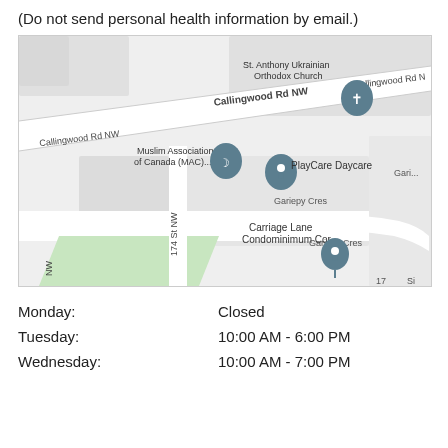(Do not send personal health information by email.)
[Figure (map): Google Maps view of Callingwood Rd NW area in Edmonton showing St. Anthony Ukrainian Orthodox Church, Muslim Association of Canada (MAC), PlayCare Daycare, Carriage Lane Condominimum Cor, Gariepy Cres, and 174 St NW.]
| Monday: | Closed |
| Tuesday: | 10:00 AM - 6:00 PM |
| Wednesday: | 10:00 AM - 7:00 PM |